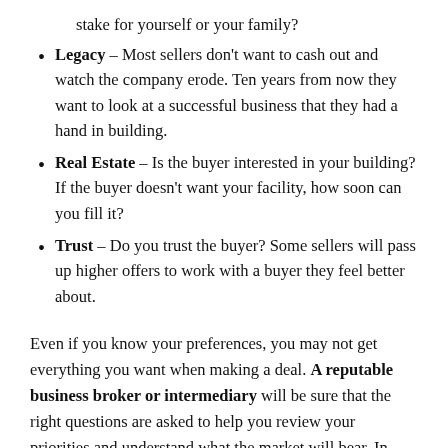stake for yourself or your family?
Legacy – Most sellers don't want to cash out and watch the company erode. Ten years from now they want to look at a successful business that they had a hand in building.
Real Estate – Is the buyer interested in your building? If the buyer doesn't want your facility, how soon can you fill it?
Trust – Do you trust the buyer? Some sellers will pass up higher offers to work with a buyer they feel better about.
Even if you know your preferences, you may not get everything you want when making a deal. A reputable business broker or intermediary will be sure that the right questions are asked to help you review your priorities and understand what the market will bear. In